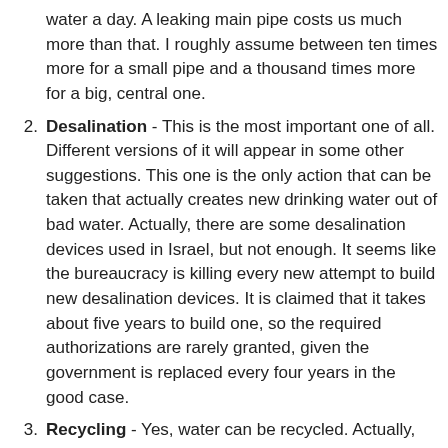water a day. A leaking main pipe costs us much more than that. I roughly assume between ten times more for a small pipe and a thousand times more for a big, central one.
Desalination - This is the most important one of all. Different versions of it will appear in some other suggestions. This one is the only action that can be taken that actually creates new drinking water out of bad water. Actually, there are some desalination devices used in Israel, but not enough. It seems like the bureaucracy is killing every new attempt to build new desalination devices. It is claimed that it takes about five years to build one, so the required authorizations are rarely granted, given the government is replaced every four years in the good case.
Recycling - Yes, water can be recycled. Actually, today, much of the water for agriculture are recycled water. The idea is that instead of sending all used water to the draining system, we clean them a bit (so they're not good for drinking) then re-use them to water fields. The same thing is also done in some water